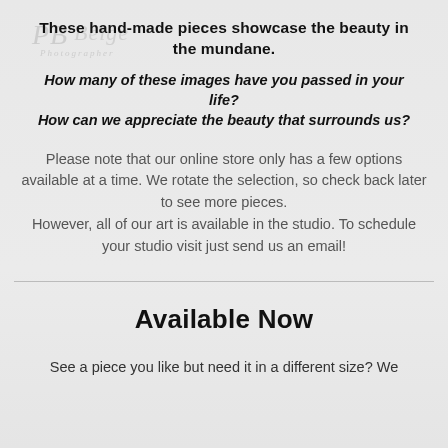[Figure (logo): Watermark/logo of a photographer signature with 'Photographer' text beneath, in light gray]
These hand-made pieces showcase the beauty in the mundane.
How many of these images have you passed in your life? How can we appreciate the beauty that surrounds us?
Please note that our online store only has a few options available at a time. We rotate the selection, so check back later to see more pieces. However, all of our art is available in the studio. To schedule your studio visit just send us an email!
Available Now
See a piece you like but need it in a different size? We